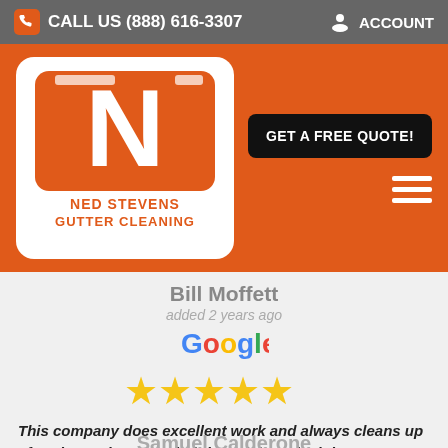CALL US (888) 616-3307  |  ACCOUNT
[Figure (logo): Ned Stevens Gutter Cleaning logo — orange N on white rounded square background with tagline NED STEVENS GUTTER CLEANING]
GET A FREE QUOTE!
Bill Moffett
added 2 years ago
[Figure (logo): Google logo in Google brand colors]
[Figure (other): 5 yellow star rating]
This company does excellent work and always cleans up after themselves. On their last visit I asked them to reattach a downspout that had blown off in... More »
Samuel Calderone